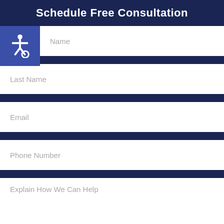Schedule Free Consultation
First Name
Last Name
Email
Phone Number
Explain How We Can Help
Get Help Now
Client Testimonials?